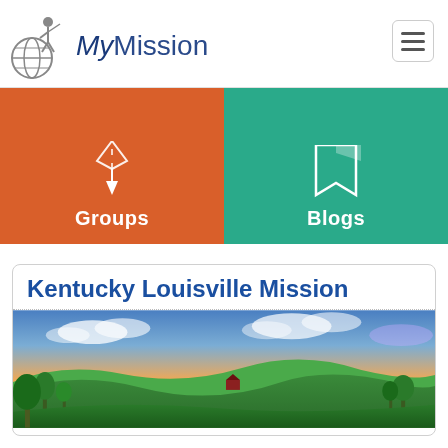MyMission navigation header with logo and hamburger menu
[Figure (logo): MyMission logo with globe and figure icon, text reads 'MyMission']
[Figure (infographic): Two navigation tiles: orange tile labeled 'Groups' with a pin/compass icon, and teal tile labeled 'Blogs' with a bookmark-like shape]
Kentucky Louisville Mission
[Figure (photo): Scenic Kentucky landscape photo showing rolling green hills, trees, a red barn in the distance, and a dramatic sunset sky with orange and blue clouds]